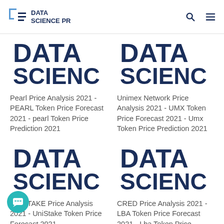DATA SCIENCE PR
[Figure (logo): Data Science PR logo placeholder image - top left card]
Pearl Price Analysis 2021 - PEARL Token Price Forecast 2021 - pearl Token Price Prediction 2021
[Figure (logo): Data Science PR logo placeholder image - top right card]
Unimex Network Price Analysis 2021 - UMX Token Price Forecast 2021 - Umx Token Price Prediction 2021
[Figure (logo): Data Science PR logo placeholder image - bottom left card]
UNISTAKE Price Analysis 2021 - UniStake Token Price Forecast 2021
[Figure (logo): Data Science PR logo placeholder image - bottom right card]
CRED Price Analysis 2021 - LBA Token Price Forecast 2021 - Lba Token Price Prediction